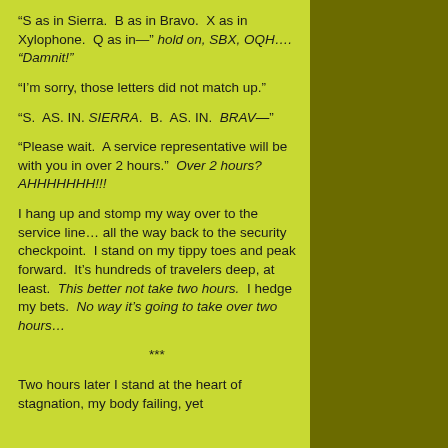“S as in Sierra.  B as in Bravo.  X as in Xylophone.  Q as in—” hold on, SBX, OQH…. “Damnit!”
“I’m sorry, those letters did not match up.”
“S.  AS. IN. SIERRA.  B.  AS. IN.  BRAV—”
“Please wait.  A service representative will be with you in over 2 hours.”  Over 2 hours?  AHHHHHHH!!!
I hang up and stomp my way over to the service line… all the way back to the security checkpoint.  I stand on my tippy toes and peak forward.  It’s hundreds of travelers deep, at least.  This better not take two hours.  I hedge my bets.  No way it’s going to take over two hours…
***
Two hours later I stand at the heart of stagnation, my body failing, yet